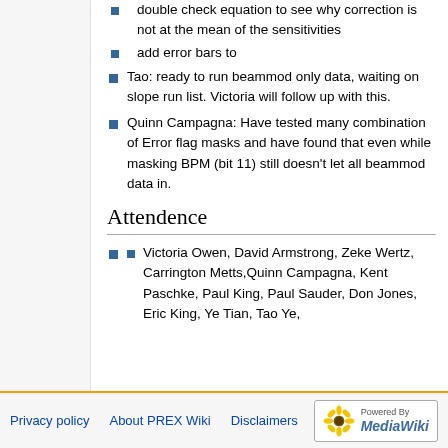double check equation to see why correction is not at the mean of the sensitivities
add error bars to
Tao: ready to run beammod only data, waiting on slope run list. Victoria will follow up with this.
Quinn Campagna: Have tested many combination of Error flag masks and have found that even while masking BPM (bit 11) still doesn't let all beammod data in.
Attendence
Victoria Owen, David Armstrong, Zeke Wertz, Carrington Metts,Quinn Campagna, Kent Paschke, Paul King, Paul Sauder, Don Jones, Eric King, Ye Tian, Tao Ye,
Privacy policy   About PREX Wiki   Disclaimers   Powered by MediaWiki